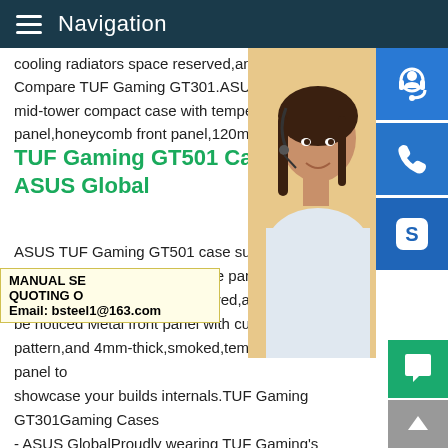Navigation
cooling radiators space reserved,and USB Compare TUF Gaming GT301.ASUS TUF mid-tower compact case with tempered glass panel,honeycomb front panel,120mm AUF
TUF Gaming GT501 Case Ga ASUS Global
ASUS TUF Gaming GT501 case supports front panel,tempered-glass side panel,120 PWM fan,radiator space reserved,and US be noticed Metal front panel with custom T pattern,and 4mm-thick,smoked,tempered-glass side panel to showcase your builds internals.TUF Gaming GT301Gaming Cases - ASUS GlobalProudly wearing TUF Gaming's signature aesthetic,these cases enable user-friendly builds that are compatible with the burgeoning ecosystem of TUF Gaming gear.ASUS TUF Gaming GT301 ATX mid-tower compact case
[Figure (photo): Customer service representative woman with headset smiling, with blue icon buttons for support, phone, and Skype on the right side]
MANUAL SE
QUOTING O
Email: bsteel1@163.com